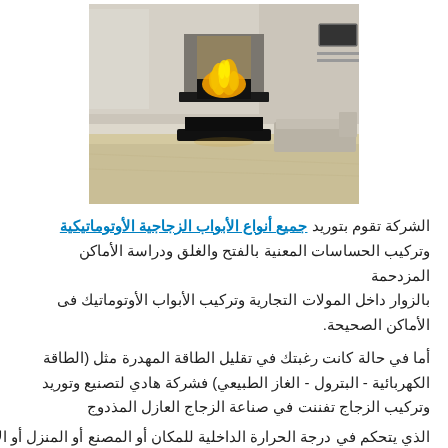[Figure (photo): Modern freestanding fireplace with yellow flames in a contemporary living room with light wood floors, white sofa, and minimalist decor]
الشركة تقوم بتوريد جميع أنواع الأبواب الزجاجية الأوتوماتيكية وتركيب الحساسات المعنية بالفتح والغلق ودراسة الأماكن المزدحمة بالزوار داخل المولات التجارية وتركيب الأبواب الأوتوماتيك فى الأماكن الصحيحة.
أما في حالة كانت رغبتك في تقليل الطاقة المهدرة مثل (الطاقة الكهربائية - البترول - الغاز الطبيعي) فشركة هادي لتصنيع وتوريد وتركيب الزجاج تفننت في صناعة الزجاج العازل المذدوج